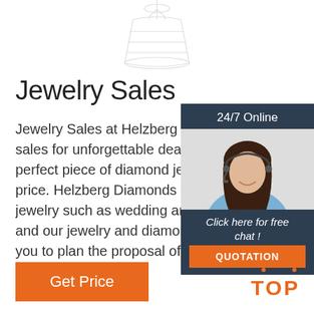[Figure (illustration): Decorative light fixture / pendant lamp illustration in light gray outline at top of page]
Jewelry Sales
Jewelry Sales at Helzberg Diamonds. S... sales for unforgettable deals that help y... perfect piece of diamond jewelry at an a... price. Helzberg Diamonds is known for s... jewelry such as wedding and engageme... and our jewelry and diamond sale collections allow you to plan the proposal of your loved one's dreams.
[Figure (infographic): 24/7 online chat widget with dark navy background. Shows '24/7 Online' header text, photo of smiling woman with headset, 'Click here for free chat!' text, and orange QUOTATION button.]
[Figure (other): Orange 'TOP' button with decorative dots above it, bottom right area]
Get Price